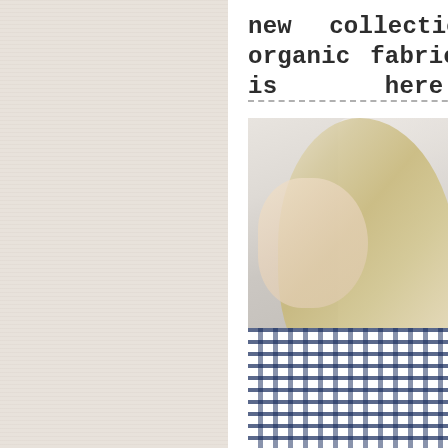new collection in the organic fabric is here!
[Figure (photo): A blonde woman with wavy hair wearing a navy and white patterned top, photographed against a light textured wall background.]